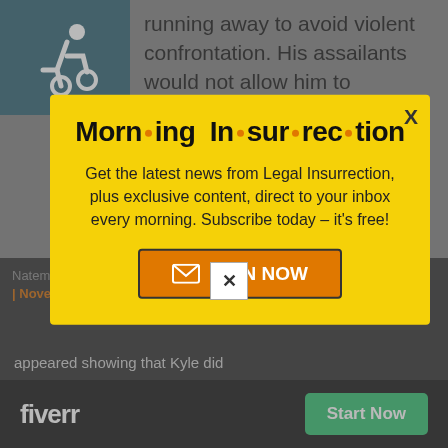[Figure (illustration): Wheelchair accessibility icon — white figure in wheelchair on teal/dark green background square]
running away to avoid violent confrontation. His assailants would not allow him to withdraw.
[Figure (infographic): Morning Insurrection newsletter popup modal on yellow background with orange dot bullets in title. Text: Get the latest news from Legal Insurrection, plus exclusive content, direct to your inbox every morning. Subscribe today – it's free! Orange JOIN NOW button with envelope icon. X close button in top right.]
Natemas · in reply to name · November 13, 2021 at 8:04 am Top
appeared showing that Kyle did
[Figure (logo): Fiverr logo and Start Now green button on black bar]